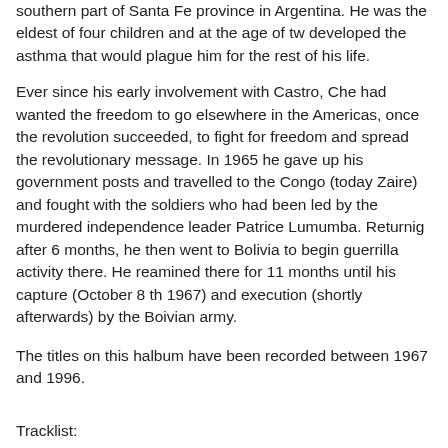southern part of Santa Fe province in Argentina. He was the eldest of four children and at the age of tw developed the asthma that would plague him for the rest of his life.
Ever since his early involvement with Castro, Che had wanted the freedom to go elsewhere in the Americas, once the revolution succeeded, to fight for freedom and spread the revolutionary message. In 1965 he gave up his government posts and travelled to the Congo (today Zaire) and fought with the soldiers who had been led by the murdered independence leader Patrice Lumumba. Returnig after 6 months, he then went to Bolivia to begin guerrilla activity there. He reamined there for 11 months until his capture (October 8 th 1967) and execution (shortly afterwards) by the Boivian army.
The titles on this halbum have been recorded between 1967 and 1996.
Tracklist: